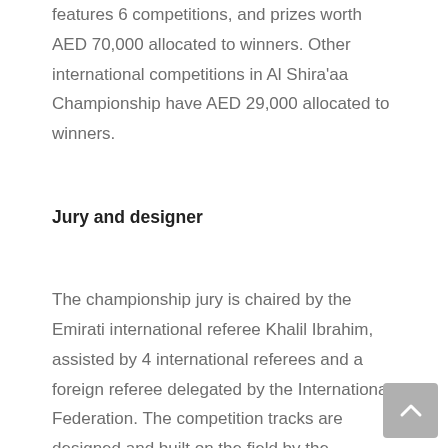features 6 competitions, and prizes worth AED 70,000 allocated to winners. Other international competitions in Al Shira'aa Championship have AED 29,000 allocated to winners.
Jury and designer
The championship jury is chaired by the Emirati international referee Khalil Ibrahim, assisted by 4 international referees and a foreign referee delegated by the International Federation. The competition tracks are designed and built on the field by the Portuguese designer, Bernardo Costa Gabriel, with the assistance of international jury. Fields are supervised by Ali Mohajer, assisted by